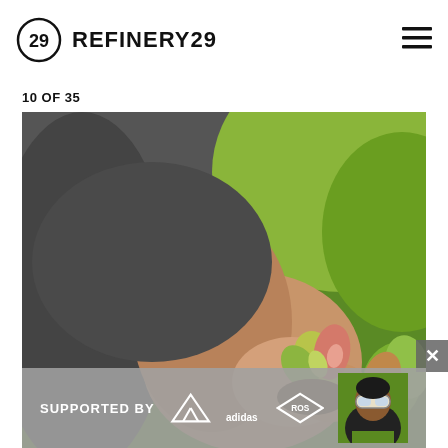REFINERY29
10 OF 35
[Figure (photo): Close-up photo of a person's hand holding a small variegated plant with pink and green leaves, with blurred green foliage in the background. Person is wearing a dark grey long-sleeve shirt.]
SUPPORTED BY adidas ROS